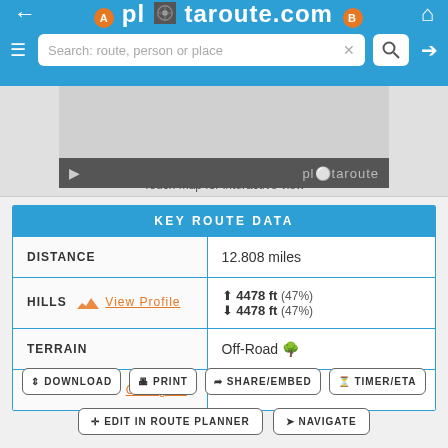plotaroute.com
[Figure (screenshot): Map preview area with plotaroute watermark and play button]
Touch map for interactive view
| KEY ROUTE DATA |  |
| --- | --- |
| DISTANCE | 12.808 miles |
| HILLS  View Profile | ↑ 4478 ft (47%)
↓ 4478 ft (47%) |
| TERRAIN | Off-Road 🌲 |
| CALORIES  Configure | 1840 kcal |
DOWNLOAD
PRINT
SHARE/EMBED
TIMER/ETA
EDIT IN ROUTE PLANNER
NAVIGATE